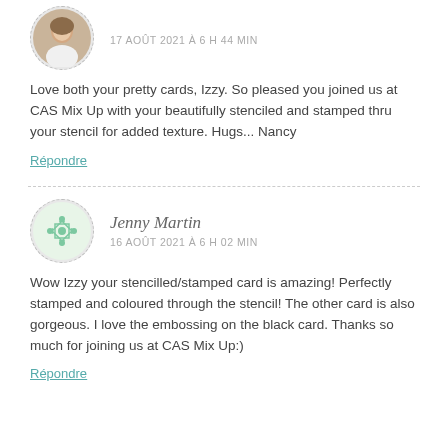[Figure (photo): Circular avatar photo of a person (woman with light hair), with dashed circular border]
17 AOÛT 2021 À 6 H 44 MIN
Love both your pretty cards, Izzy. So pleased you joined us at CAS Mix Up with your beautifully stenciled and stamped thru your stencil for added texture. Hugs... Nancy
Répondre
[Figure (illustration): Circular avatar with a decorative geometric/floral pattern in mint green color, with dashed circular border]
Jenny Martin
16 AOÛT 2021 À 6 H 02 MIN
Wow Izzy your stencilled/stamped card is amazing! Perfectly stamped and coloured through the stencil! The other card is also gorgeous. I love the embossing on the black card. Thanks so much for joining us at CAS Mix Up:)
Répondre